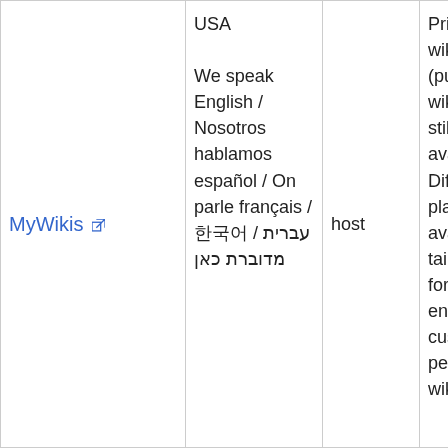| MyWikis [external link] | USA
We speak English / Nosotros hablamos español / On parle français / 한국어 / עברית מדוברת כאן | host | Private wikis (public wikis are still available) Different plan available, tailored for enterprise customers, personal wikis, and |